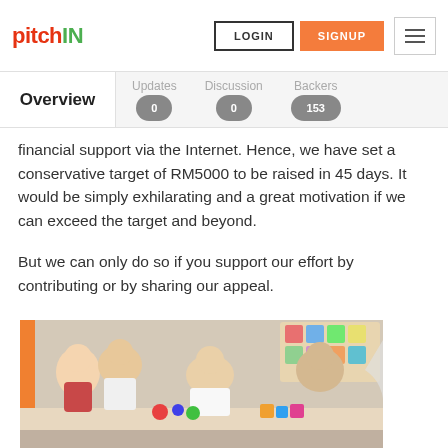pitchIN | LOGIN | SIGNUP
Overview | Updates 0 | Discussion 0 | Backers 153
financial support via the Internet. Hence, we have set a conservative target of RM5000 to be raised in 45 days. It would be simply exhilarating and a great motivation if we can exceed the target and beyond.
But we can only do so if you support our effort by contributing or by sharing our appeal.
[Figure (photo): Classroom scene showing children and adults (teachers/parents) at a table with colorful toys and educational materials. Appears to be a childcare or early education setting.]